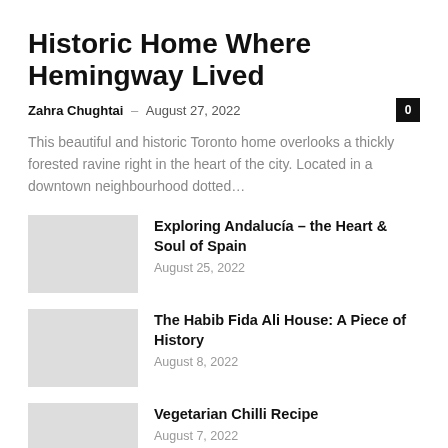Historic Home Where Hemingway Lived
Zahra Chughtai – August 27, 2022
This beautiful and historic Toronto home overlooks a thickly forested ravine right in the heart of the city. Located in a downtown neighbourhood dotted…
Exploring Andalucía – the Heart & Soul of Spain
August 25, 2022
The Habib Fida Ali House: A Piece of History
August 8, 2022
Vegetarian Chilli Recipe
August 7, 2022